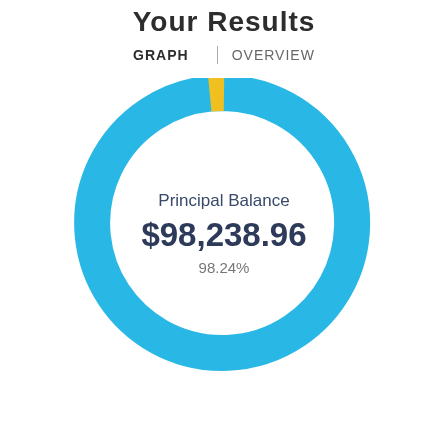Your Results
GRAPH | OVERVIEW
[Figure (donut-chart): Donut chart showing Principal Balance at $98,238.96 (98.24%) in blue, with a small yellow segment (1.76%)]